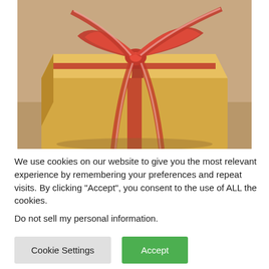[Figure (photo): A gold gift box with a decorative red and white striped ribbon bow on top, placed on a wooden surface. The background is a warm beige/tan color.]
We use cookies on our website to give you the most relevant experience by remembering your preferences and repeat visits. By clicking "Accept", you consent to the use of ALL the cookies.
Do not sell my personal information.